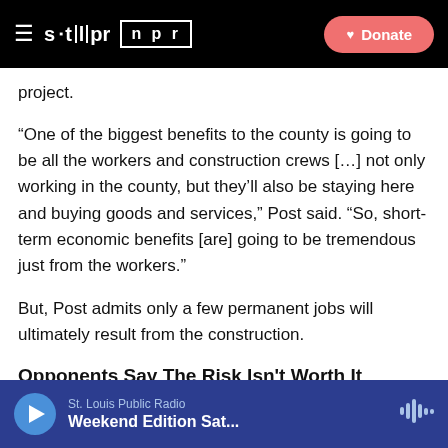stlpr | npr  Donate
project.
“One of the biggest benefits to the county is going to be all the workers and construction crews […] not only working in the county, but they’ll also be staying here and buying goods and services,” Post said. “So, short-term economic benefits [are] going to be tremendous just from the workers.”
But, Post admits only a few permanent jobs will ultimately result from the construction.
Opponents Say The Risk Isn't Worth It
St. Louis Public Radio  Weekend Edition Sat...